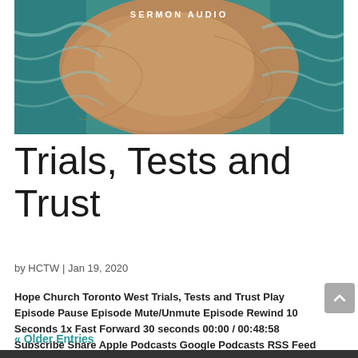[Figure (photo): Aerial photograph of sandy beach with teal ocean waves on either side, with text overlay 'SERMON AUDIO' in white capital letters]
Trials, Tests and Trust
by HCTW | Jan 19, 2020
Hope Church Toronto West Trials, Tests and Trust Play Episode Pause Episode Mute/Unmute Episode Rewind 10 Seconds 1x Fast Forward 30 seconds 00:00 / 00:48:58 Subscribe Share Apple Podcasts Google Podcasts RSS Feed Share Link Embed Download file | Play in new window |…
« Older Entries